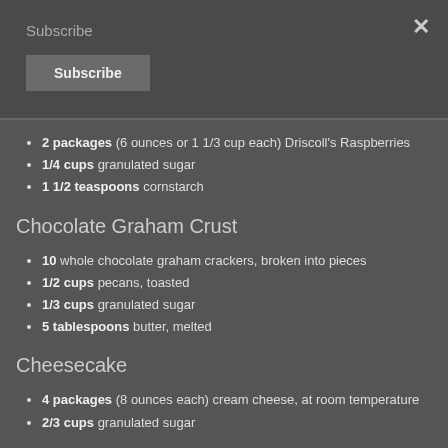Subscribe
Subscribe (button)
2 packages (6 ounces or 1 1/3 cup each) Driscoll's Raspberries
1/4 cups granulated sugar
1 1/2 teaspoons cornstarch
Chocolate Graham Crust
10 whole chocolate graham crackers, broken into pieces
1/2 cups pecans, toasted
1/3 cups granulated sugar
5 tablespoons butter, melted
Cheesecake
4 packages (8 ounces each) cream cheese, at room temperature
2/3 cups granulated sugar